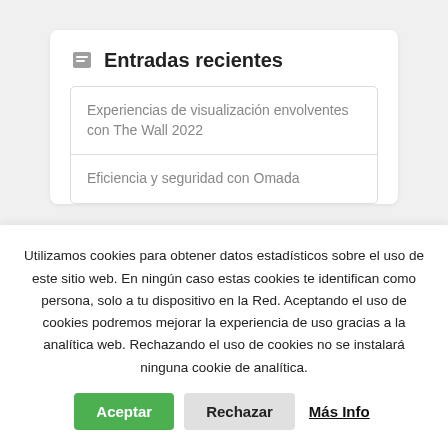Entradas recientes
Experiencias de visualización envolventes con The Wall 2022
Eficiencia y seguridad con Omada
Utilizamos cookies para obtener datos estadísticos sobre el uso de este sitio web. En ningún caso estas cookies te identifican como persona, solo a tu dispositivo en la Red. Aceptando el uso de cookies podremos mejorar la experiencia de uso gracias a la analítica web. Rechazando el uso de cookies no se instalará ninguna cookie de analítica.
Aceptar | Rechazar | Más Info